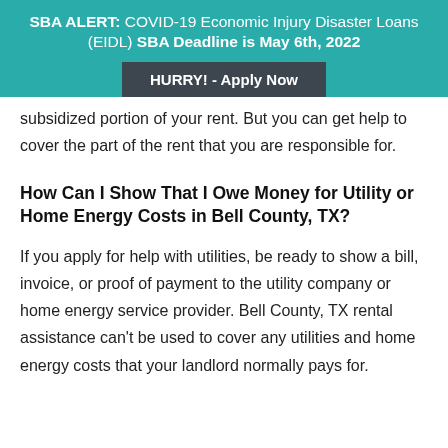SBA ALERT: COVID-19 Economic Injury Disaster Loans (EIDL) SBA Deadline is May 6th, 2022
HURRY! - Apply Now
subsidized portion of your rent. But you can get help to cover the part of the rent that you are responsible for.
How Can I Show That I Owe Money for Utility or Home Energy Costs in Bell County, TX?
If you apply for help with utilities, be ready to show a bill, invoice, or proof of payment to the utility company or home energy service provider. Bell County, TX rental assistance can't be used to cover any utilities and home energy costs that your landlord normally pays for.